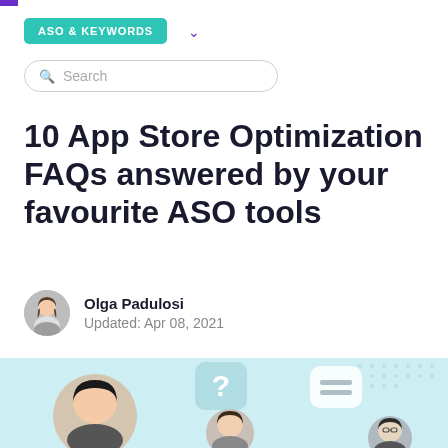ASO & KEYWORDS
Search
10 App Store Optimization FAQs answered by your favourite ASO tools
Olga Padulosi
Updated: Apr 08, 2021
[Figure (illustration): Hero illustration showing multiple people (headshots) with chat and question mark bubbles on a light blue background]